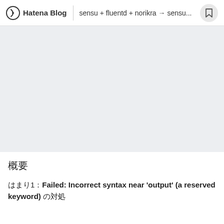Hatena Blog | sensu + fluentd + norikra → sensu...
[Figure (other): Light gray placeholder image area]
概要
はまり1：Failed: Incorrect syntax near 'output' (a reserved keyword) の対処